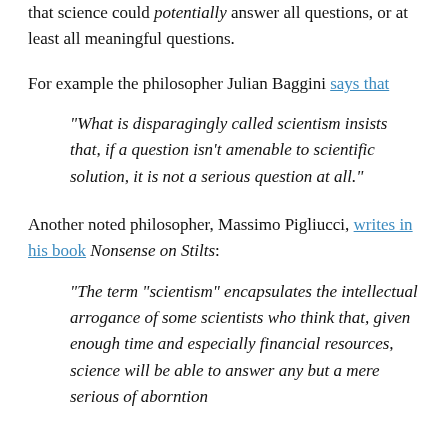that science could potentially answer all questions, or at least all meaningful questions.
For example the philosopher Julian Baggini says that
“What is disparagingly called scientism insists that, if a question isn’t amenable to scientific solution, it is not a serious question at all.”
Another noted philosopher, Massimo Pigliucci, writes in his book Nonsense on Stilts:
“The term “scientism” encapsulates the intellectual arrogance of some scientists who think that, given enough time and especially financial resources, science will be able to answer any but a mere series ofaborntions